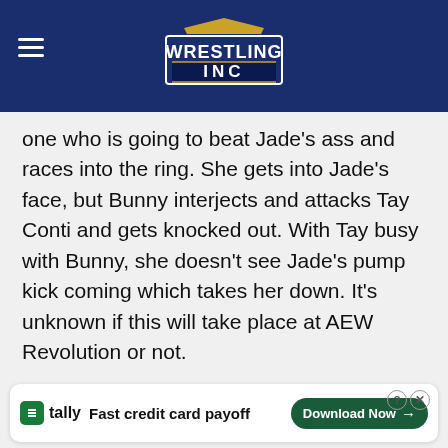Wrestling Inc
one who is going to beat Jade's ass and races into the ring. She gets into Jade's face, but Bunny interjects and attacks Tay Conti and gets knocked out. With Tay busy with Bunny, she doesn't see Jade's pump kick coming which takes her down. It's unknown if this will take place at AEW Revolution or not.
Bryan Danielson vs Daniel Garcia
Danielson & Garcia lock up right away, but Danielson takes the early control. Danielson hits Garcia [ad overlay] back with a [ad overlay] elson's